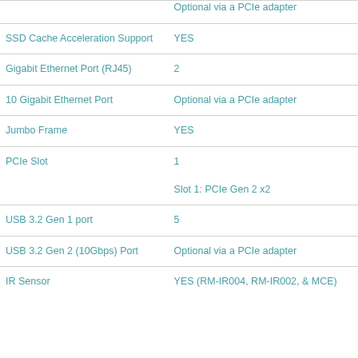| Feature | Value |
| --- | --- |
| SSD Cache Acceleration Support | YES |
| Gigabit Ethernet Port (RJ45) | 2 |
| 10 Gigabit Ethernet Port | Optional via a PCIe adapter |
| Jumbo Frame | YES |
| PCIe Slot | 1

Slot 1: PCIe Gen 2 x2 |
| USB 3.2 Gen 1 port | 5 |
| USB 3.2 Gen 2 (10Gbps) Port | Optional via a PCIe adapter |
| IR Sensor | YES (RM-IR004, RM-IR002, & MCE) |